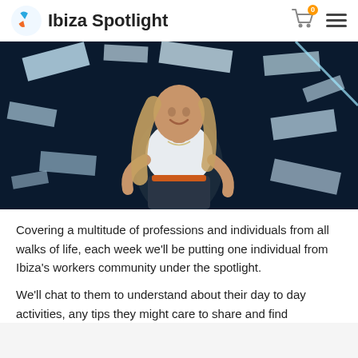Ibiza Spotlight
[Figure (photo): Young woman with long blonde hair smiling at camera, wearing white top and dark bottoms with orange belt, posed against a dark background with white rectangular shapes/tiles scattered around, nightclub setting]
Covering a multitude of professions and individuals from all walks of life, each week we'll be putting one individual from Ibiza's workers community under the spotlight.
We'll chat to them to understand about their day to day activities, any tips they might care to share and find